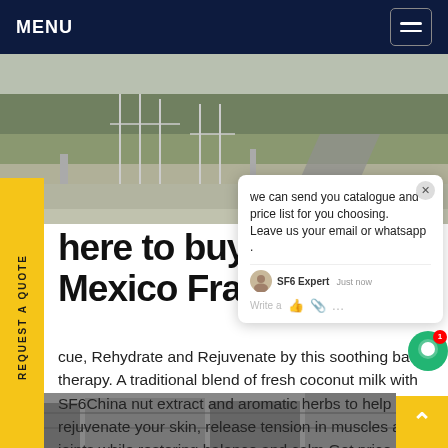MENU
[Figure (photo): Outdoor industrial or infrastructure area with green grass, metal structures/poles, and a road/path. Overcast sky. Panoramic landscape view.]
[Figure (screenshot): Chat popup bubble with message: 'we can send you catalogue and price list for you choosing. Leave us your email or whatsapp .' From SF6 Expert, just now. Green chat circle icon with notification badge showing 1.]
here to buy dilo Mexico France
cue, Rehydrate and Rejuvenate by this soothing bath therapy. A traditional blend of fresh coconut milk with SF6China nut extract and aromatic herbs to help rejuvenate your skin, release tension in muscles and joints while restoring balance and calm.Get price
[Figure (photo): Bottom strip showing industrial equipment or infrastructure, dark tones.]